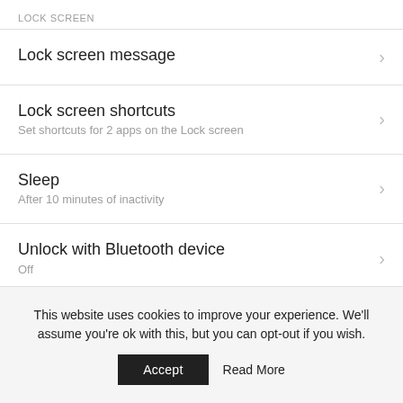LOCK SCREEN
Lock screen message
Lock screen shortcuts
Set shortcuts for 2 apps on the Lock screen
Sleep
After 10 minutes of inactivity
Unlock with Bluetooth device
Off
Smart cover
This website uses cookies to improve your experience. We'll assume you're ok with this, but you can opt-out if you wish.
Accept   Read More